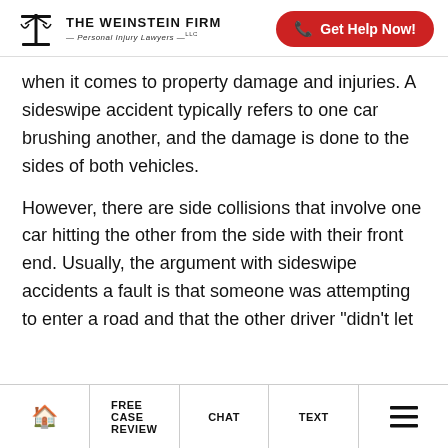The Weinstein Firm — Personal Injury Lawyers LLC | Get Help Now!
when it comes to property damage and injuries. A sideswipe accident typically refers to one car brushing another, and the damage is done to the sides of both vehicles.
However, there are side collisions that involve one car hitting the other from the side with their front end. Usually, the argument with sideswipe accidents a fault is that someone was attempting to enter a road and that the other driver “didn’t let
FREE CASE REVIEW | CHAT | TEXT | (menu)